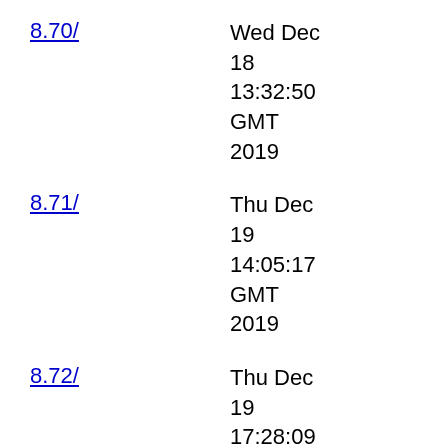8.70/  Wed Dec 18 13:32:50 GMT 2019
8.71/  Thu Dec 19 14:05:17 GMT 2019
8.72/  Thu Dec 19 17:28:09 GMT 2019
8.73/  Fri Dec 27 09:02:23 GMT 2019
Fri Jan 03